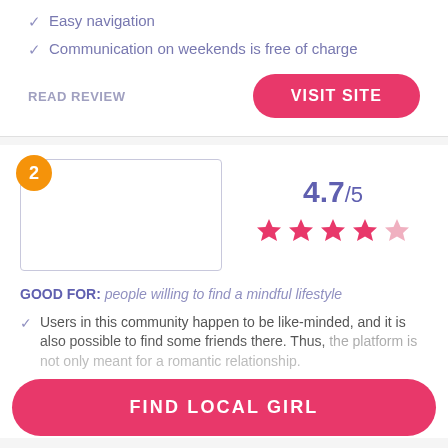Easy navigation
Communication on weekends is free of charge
READ REVIEW
VISIT SITE
2
4.7/5
[Figure (other): Star rating: 4.7 out of 5 shown with filled and half-filled pink stars]
GOOD FOR: people willing to find a mindful lifestyle
Users in this community happen to be like-minded, and it is also possible to find some friends there. Thus, the platform is not only meant for a romantic relationship.
It is allowed to get registered via facebook.
Users have to verify their accounts, so other members
FIND LOCAL GIRL